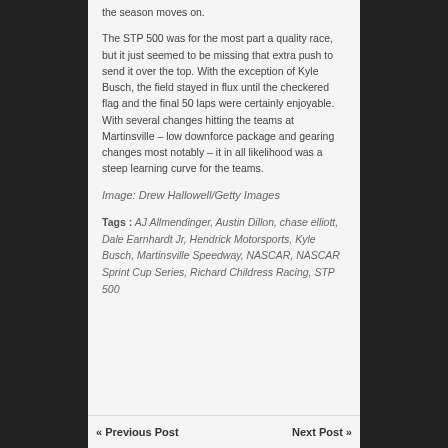the season moves on.
The STP 500 was for the most part a quality race, but it just seemed to be missing that extra push to send it over the top. With the exception of Kyle Busch, the field stayed in flux until the checkered flag and the final 50 laps were certainly enjoyable. With several changes hitting the teams at Martinsville – low downforce package and gearing changes most notably – it in all likelihood was a steep learning curve for the teams.
Image: Drew Hallowell/Getty Images
Tags : AJ Allmendinger, Austin Dillon, chase elliott, Dale Earnhardt Jr, Hendrick Motorsports, Kyle Busch, Martinsville Speedway, NASCAR, NASCAR Sprint Cup Series, Richard Childress Racing, STP 500
« Previous Post   Next Post »